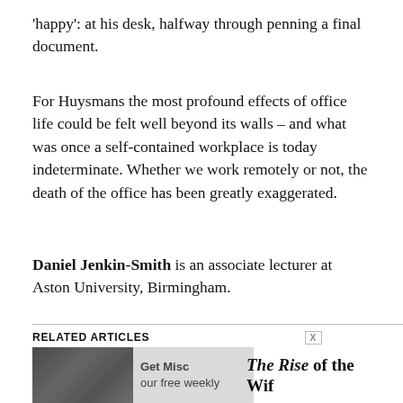'happy': at his desk, halfway through penning a final document.
For Huysmans the most profound effects of office life could be felt well beyond its walls – and what was once a self-contained workplace is today indeterminate. Whether we work remotely or not, the death of the office has been greatly exaggerated.
Daniel Jenkin-Smith is an associate lecturer at Aston University, Birmingham.
RELATED ARTICLES
[Figure (photo): A grayscale historical photograph of a group of people, partially overlaid with text promoting a newsletter and an article titled 'The Rise of the Wif...']